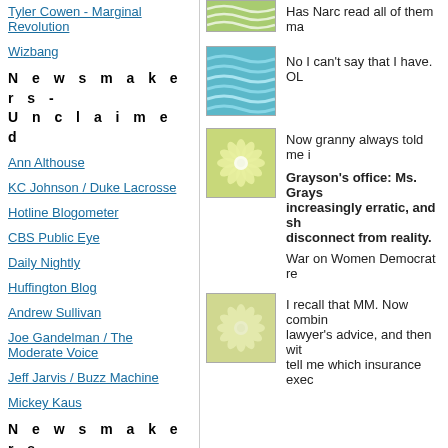Tyler Cowen - Marginal Revolution
Wizbang
N e w s m a k e r s - U n c l a i m e d
Ann Althouse
KC Johnson / Duke Lacrosse
Hotline Blogometer
CBS Public Eye
Daily Nightly
Huffington Blog
Andrew Sullivan
Joe Gandelman / The Moderate Voice
Jeff Jarvis / Buzz Machine
Mickey Kaus
N e w s m a k e r s - L e f t
Blog For America (And Dean)
[Figure (illustration): Green wavy/leafy decorative thumbnail image]
Has Narc read all of them ma
[Figure (illustration): Blue wavy water pattern decorative thumbnail]
No I can't say that I have. OL
[Figure (illustration): Green flower/starburst decorative thumbnail]
Now granny always told me i
Grayson's office: Ms. Grays increasingly erratic, and sh disconnect from reality.
War on Women Democrat re
[Figure (illustration): Green starburst/flower decorative thumbnail (faded)]
I recall that MM. Now combin lawyer's advice, and then wit tell me which insurance exec